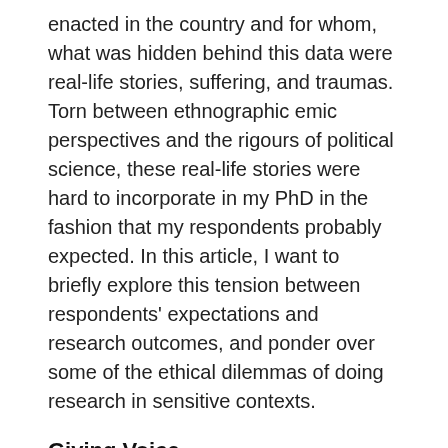enacted in the country and for whom, what was hidden behind this data were real-life stories, suffering, and traumas. Torn between ethnographic emic perspectives and the rigours of political science, these real-life stories were hard to incorporate in my PhD in the fashion that my respondents probably expected. In this article, I want to briefly explore this tension between respondents' expectations and research outcomes, and ponder over some of the ethical dilemmas of doing research in sensitive contexts.
Giving Voice
I have worked on topics related to transitional justice, post-war reckoning, and establishing a dialogue between the three key Bosnian ethno-